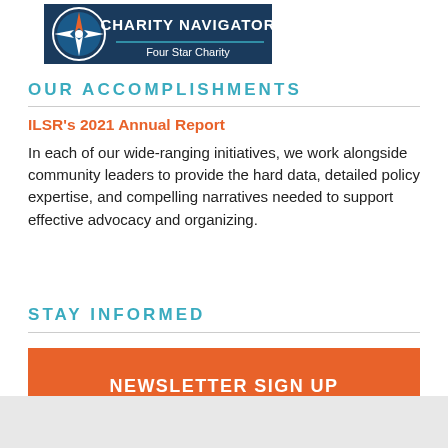[Figure (logo): Charity Navigator Four Star Charity badge with compass logo on blue background]
OUR ACCOMPLISHMENTS
ILSR's 2021 Annual Report
In each of our wide-ranging initiatives, we work alongside community leaders to provide the hard data, detailed policy expertise, and compelling narratives needed to support effective advocacy and organizing.
STAY INFORMED
NEWSLETTER SIGN UP